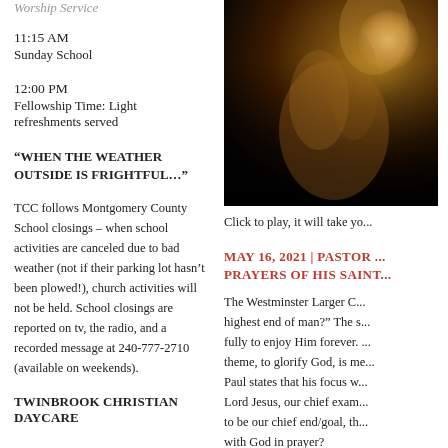Worship Service
11:15 AM
Sunday School
12:00 PM
Fellowship Time: Light refreshments served
“WHEN THE WEATHER OUTSIDE IS FRIGHTFUL…”
TCC follows Montgomery County School closings – when school activities are canceled due to bad weather (not if their parking lot hasn’t been plowed!), church activities will not be held. School closings are reported on tv, the radio, and a recorded message at 240-777-2710 (available on weekends).
TWINBROOK CHRISTIAN DAYCARE
[Figure (photo): Close-up photo of hands clasped in prayer against a dark background with warm brown tones]
Click to play, it will take yo...
MAY 16, 2021 | PASTOR ... PRAYERS OF HIS SAINT...
The Westminster Larger C... highest end of man?” The s... fully to enjoy Him forever. ... theme, to glorify God, is me... Paul states that his focus w... Lord Jesus, our chief exam... to be our chief end/goal, th... with God in prayer?